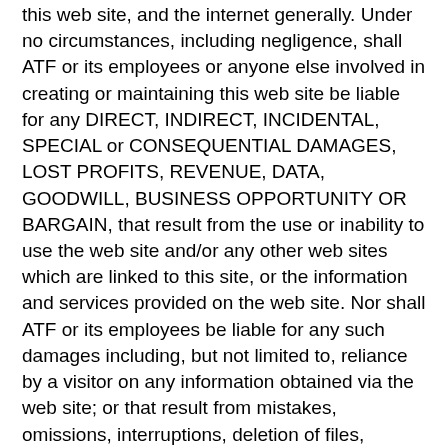this web site, and the internet generally. Under no circumstances, including negligence, shall ATF or its employees or anyone else involved in creating or maintaining this web site be liable for any DIRECT, INDIRECT, INCIDENTAL, SPECIAL or CONSEQUENTIAL DAMAGES, LOST PROFITS, REVENUE, DATA, GOODWILL, BUSINESS OPPORTUNITY OR BARGAIN, that result from the use or inability to use the web site and/or any other web sites which are linked to this site, or the information and services provided on the web site. Nor shall ATF or its employees be liable for any such damages including, but not limited to, reliance by a visitor on any information obtained via the web site; or that result from mistakes, omissions, interruptions, deletion of files, viruses, errors, defects, or any failure of performance, communications failure, theft, destruction or unauthorised access. In states which do not allow some or all of the above limitations of liability, liability shall be limited to the greatest extent allowed by law.
Online Conduct
Users of this web site agree to use the web site only for